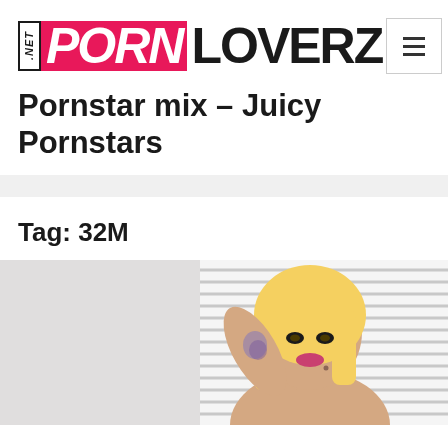[Figure (logo): NetPornLoverz logo — .NET in small italic text with border, PORN in bold italic white on pink/magenta background, LOVERZ in bold black text]
Pornstar mix – Juicy Pornstars
Tag: 32M
[Figure (photo): Blonde woman with tattoos, heavy makeup, posing against venetian blinds background]